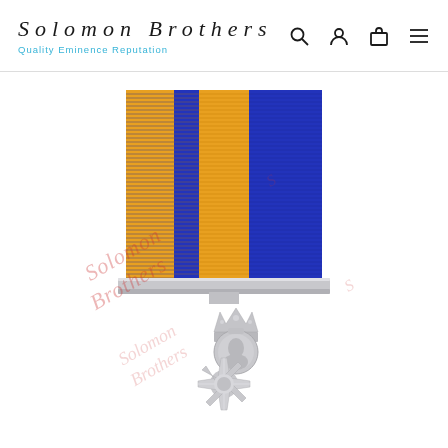Solomon Brothers — Quality Eminence Reputation
[Figure (photo): Product photo of a military medal with a blue and gold/yellow striped ribbon attached to a silver bar clasp, and a silver decorative medal/cross below. Watermark text 'Solomon Brothers' overlaid diagonally across the image.]